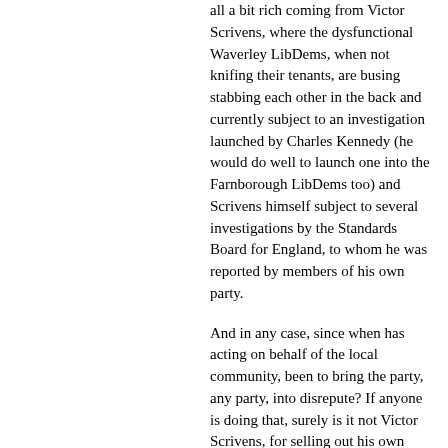all a bit rich coming from Victor Scrivens, where the dysfunctional Waverley LibDems, when not knifing their tenants, are busing stabbing each other in the back and currently subject to an investigation launched by Charles Kennedy (he would do well to launch one into the Farnborough LibDems too) and Scrivens himself subject to several investigations by the Standards Board for England, to whom he was reported by members of his own party.
And in any case, since when has acting on behalf of the local community, been to bring the party, any party, into disrepute? If anyone is doing that, surely is it not Victor Scrivens, for selling out his own tenants, for toadying up to neo-Labour policies?
The fact that Scrivens is trying behind the scenes to silence critics and prevent any help and advice for Waverley tenants only goes to show